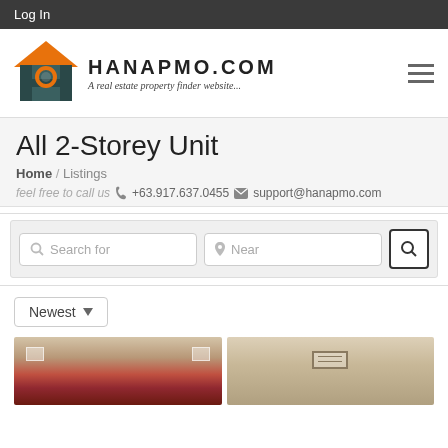Log In
[Figure (logo): Hanapmo.com logo with house icon and text 'HANAPMO.COM - A real estate property finder website...']
All 2-Storey Unit
Home / Listings
feel free to call us  +63.917.637.0455   support@hanapmo.com
[Figure (screenshot): Search bar with 'Search for' and 'Near' fields and a search button]
Newest
[Figure (photo): Two property listing photos showing house exteriors]